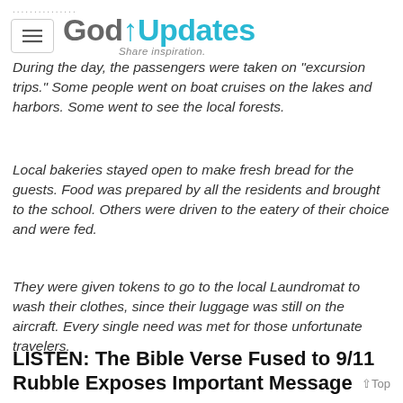GodUpdates – Share inspiration.
During the day, the passengers were taken on "excursion trips." Some people went on boat cruises on the lakes and harbors. Some went to see the local forests.
Local bakeries stayed open to make fresh bread for the guests. Food was prepared by all the residents and brought to the school. Others were driven to the eatery of their choice and were fed.
They were given tokens to go to the local Laundromat to wash their clothes, since their luggage was still on the aircraft. Every single need was met for those unfortunate travelers.
LISTEN: The Bible Verse Fused to 9/11 Rubble Exposes Important Message